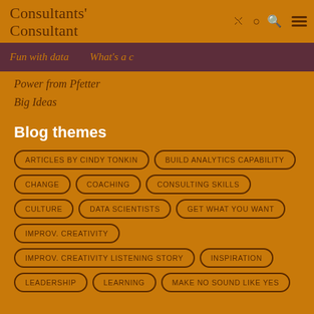Consultants' Consultant
Fun with data  What's a c
Power from Pfetter
Big Ideas
Blog themes
ARTICLES BY CINDY TONKIN
BUILD ANALYTICS CAPABILITY
CHANGE
COACHING
CONSULTING SKILLS
CULTURE
DATA SCIENTISTS
GET WHAT YOU WANT
IMPROV. CREATIVITY
IMPROV. CREATIVITY LISTENING STORY
INSPIRATION
LEADERSHIP
LEARNING
MAKE NO SOUND LIKE YES